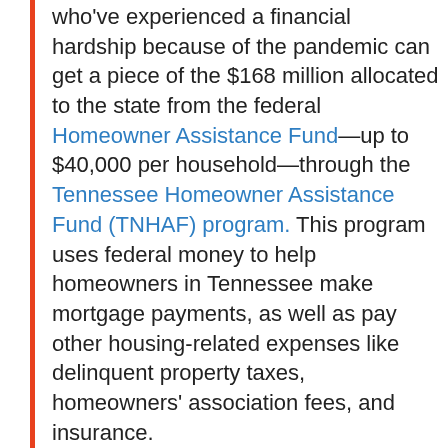who've experienced a financial hardship because of the pandemic can get a piece of the $168 million allocated to the state from the federal Homeowner Assistance Fund—up to $40,000 per household—through the Tennessee Homeowner Assistance Fund (TNHAF) program. This program uses federal money to help homeowners in Tennessee make mortgage payments, as well as pay other housing-related expenses like delinquent property taxes, homeowners' association fees, and insurance.
Also, while the COVID-19 national emergency continues, homeowners with